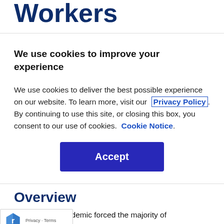Workers
We use cookies to improve your experience
We use cookies to deliver the best possible experience on our website. To learn more, visit our  Privacy Policy . By continuing to use this site, or closing this box, you consent to our use of cookies.  Cookie Notice .
Accept
Overview
e COVID-19 pandemic forced the majority of e global workforce to move into a remote